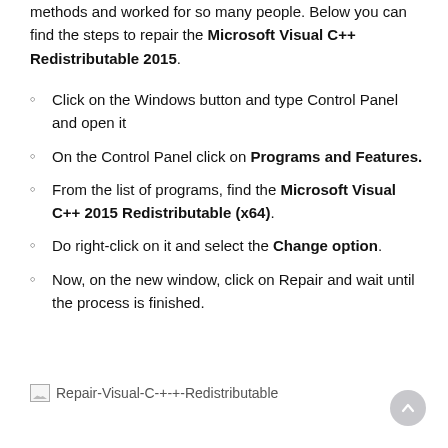methods and worked for so many people. Below you can find the steps to repair the Microsoft Visual C++ Redistributable 2015.
Click on the Windows button and type Control Panel and open it
On the Control Panel click on Programs and Features.
From the list of programs, find the Microsoft Visual C++ 2015 Redistributable (x64).
Do right-click on it and select the Change option.
Now, on the new window, click on Repair and wait until the process is finished.
[Figure (other): Placeholder image icon labeled Repair-Visual-C-+-+-Redistributable]